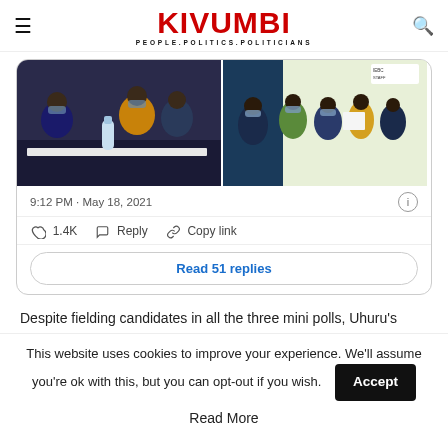KIVUMBI — PEOPLE.POLITICS.POLITICIANS
[Figure (photo): Tweet card with two photos of people at what appears to be an election/official event, wearing masks. Left photo shows people at a table with a water bottle. Right photo shows a group of people standing, some holding papers, with an IEBC STAFF badge visible.]
9:12 PM · May 18, 2021
♡ 1.4K   Reply   Copy link
Read 51 replies
Despite fielding candidates in all the three mini polls, Uhuru's
This website uses cookies to improve your experience. We'll assume you're ok with this, but you can opt-out if you wish.
Accept
Read More